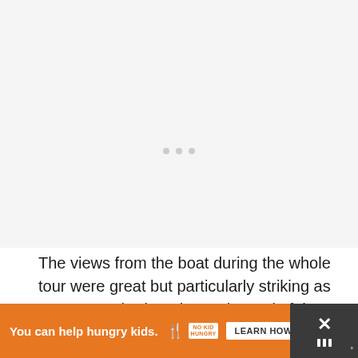[Figure (photo): Large image placeholder area showing a mostly white/light gray background with three small dots visible near the center, suggesting a loading or placeholder image region.]
The views from the boat during the whole tour were great but particularly striking as we approached Venice at the end of the trip. Then to end off a perfect day when we got back to Venice, we ate lots of delicious crostini and drank Ve
[Figure (other): Advertisement banner: orange background with text 'You can help hungry kids.' and No Kid Hungry logo with a 'LEARN HOW' button. A close button (X) and a dark side panel with X mark and bar icons.]